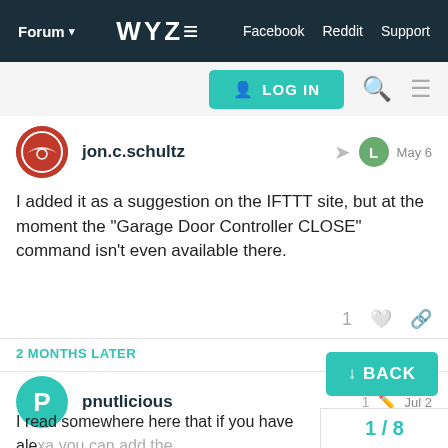Forum | WYZE | Facebook  Reddit  Support
[Figure (screenshot): LOG IN button with user icon, search icon, and hamburger menu icon]
jon.c.schultz  May 6
I added it as a suggestion on the IFTTT site, but at the moment the "Garage Door Controller CLOSE" command isn't even available there.
1 (like) (link)
2 MONTHS LATER
pnutlicious  1 (edit)  Jul 2
I read somewhere here that if you have alexa you can add the wyze skills to it, it will find garage door con... set routines. So I checked and I did 2 routir...